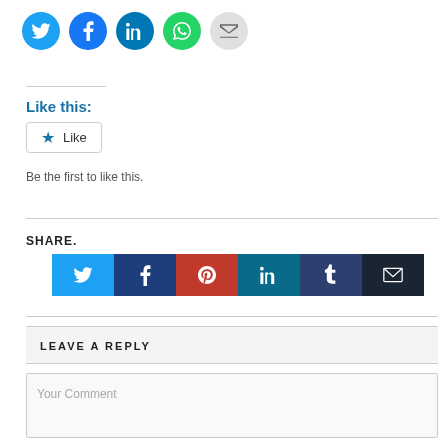[Figure (infographic): Social sharing circle buttons: Twitter (blue), Facebook (blue), LinkedIn (dark teal), WhatsApp (green), Email (gray)]
Like this:
[Figure (infographic): Like button with star icon and text 'Like']
Be the first to like this.
SHARE.
[Figure (infographic): Share buttons row: Twitter (light blue), Facebook (dark blue), Pinterest (red), LinkedIn (teal), Tumblr (dark blue), Email (very dark)]
LEAVE A REPLY
Your Comment